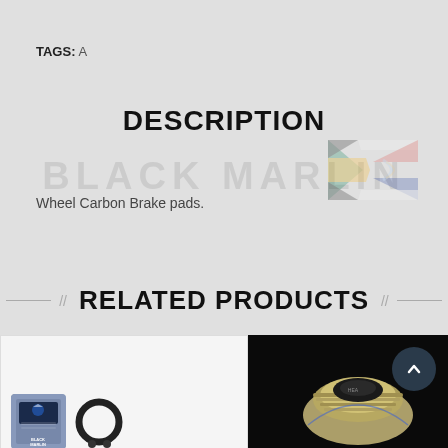TAGS: A
DESCRIPTION
Wheel Carbon Brake pads.
RELATED PRODUCTS
[Figure (photo): Two product cards: left card shows packaging bag with Black Marlin branding and rubber O-ring seals; right card shows a mechanical part (lens or filter) on dark background with scroll-up button overlay]